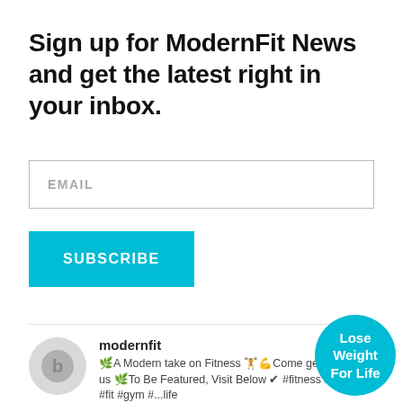Sign up for ModernFit News and get the latest right in your inbox.
EMAIL
SUBSCRIBE
modernfit
🌿A Modern take on Fitness 🏋️💪Come get Fit with us 🌿To Be Featured, Visit Below ✔ #fitness #fitspo #fit #gym #...life
Follow on Instagram
Lose Weight For Life